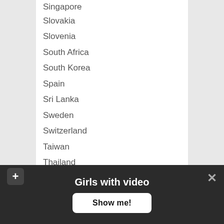Singapore
Slovakia
Slovenia
South Africa
South Korea
Spain
Sri Lanka
Sweden
Switzerland
Taiwan
Thailand
The Bahamas
Trinidad and Tobago
Turkey
United Arab Emirates
Uruguay
USA
Venezuela
Vietnam
Girls with video
Show me!